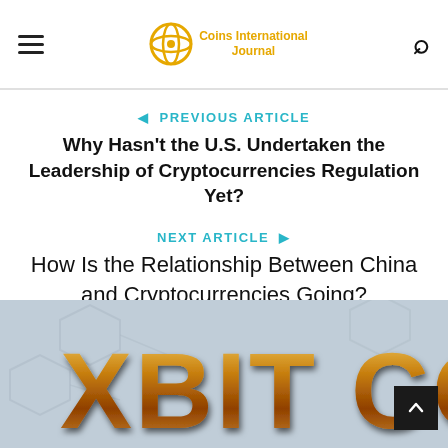Coins International Journal
◄ PREVIOUS ARTICLE
Why Hasn't the U.S. Undertaken the Leadership of Cryptocurrencies Regulation Yet?
NEXT ARTICLE ›
How Is the Relationship Between China and Cryptocurrencies Going?
[Figure (photo): XBIT COI... banner image with gold metallic text on a light blue-grey background with graphic watermarks]